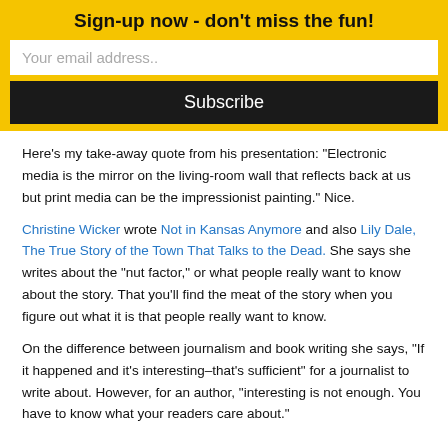Sign-up now - don't miss the fun!
Here's my take-away quote from his presentation:  "Electronic media is the mirror on the living-room wall that reflects back at us but print media can be the impressionist painting."  Nice.
Christine Wicker wrote Not in Kansas Anymore and also Lily Dale, The True Story of the Town That Talks to the Dead.  She says she writes about the "nut factor," or what people really want to know about the story.  That you'll find the meat of the story when you figure out what it is that people really want to know.
On the difference between journalism and book writing she says, "If it happened and it's interesting–that's sufficient" for a journalist to write about.  However, for an author, "interesting is not enough.  You have to know what your readers care about."